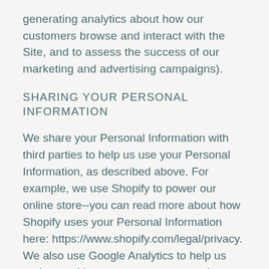generating analytics about how our customers browse and interact with the Site, and to assess the success of our marketing and advertising campaigns).
SHARING YOUR PERSONAL INFORMATION
We share your Personal Information with third parties to help us use your Personal Information, as described above. For example, we use Shopify to power our online store--you can read more about how Shopify uses your Personal Information here: https://www.shopify.com/legal/privacy. We also use Google Analytics to help us understand how our customers use the Site--you can read more